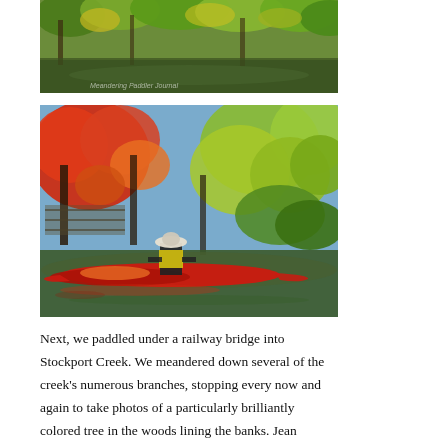[Figure (photo): A river scene with lush green and yellow autumn foliage overhanging calm water, with a faint watermark text at the bottom.]
[Figure (photo): A kayaker in a hat and yellow life vest paddling a red kayak along a narrow creek lined with brilliantly colored autumn trees — red, orange, and yellow leaves under a blue sky.]
Next, we paddled under a railway bridge into Stockport Creek. We meandered down several of the creek's numerous branches, stopping every now and again to take photos of a particularly brilliantly colored tree in the woods lining the banks. Jean spotted a street sign